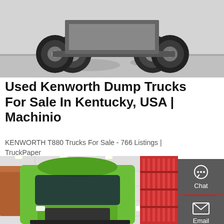[Figure (photo): Top portion of a large dump truck chassis viewed from a low angle showing wheels and undercarriage on a concrete surface.]
Used Kenworth Dump Trucks For Sale In Kentucky, USA | Machinio
KENWORTH T880 Trucks For Sale - 766 Listings | TruckPaper
[Figure (other): GET A QUOTE button – red rectangle with white text]
[Figure (photo): Front view of a bright green modern dump truck inside a showroom or warehouse, with red metal framework visible to the right.]
[Figure (infographic): Dark grey sidebar panel with Chat, Email, and Contact icons and labels, separated by red dividers.]